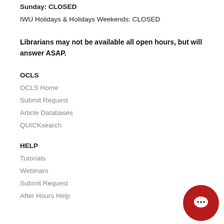Sunday: CLOSED
IWU Holidays & Holidays Weekends: CLOSED
Librarians may not be available all open hours, but will answer ASAP.
OCLS
OCLS Home
Submit Request
Article Databases
QUICKsearch
HELP
Tutorials
Webinars
Submit Request
After Hours Help
[Figure (illustration): Red circular chat bubble button icon in the bottom right corner]